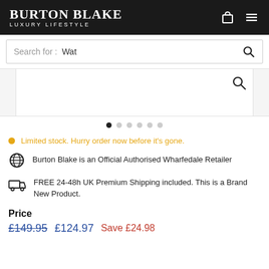BURTON BLAKE LUXURY LIFESTYLE
Search for: Wat
[Figure (screenshot): Product image area with search icon, partially visible carousel]
Limited stock. Hurry order now before it's gone.
Burton Blake is an Official Authorised Wharfedale Retailer
FREE 24-48h UK Premium Shipping included. This is a Brand New Product.
Price
£149.95  £124.97  Save £24.98